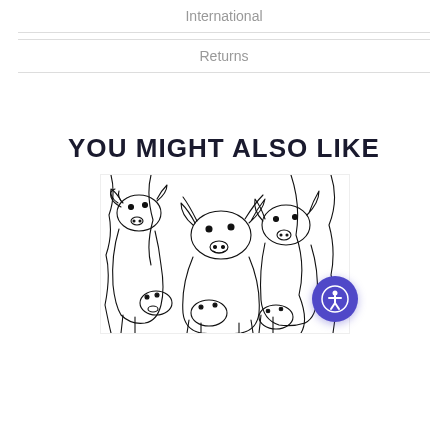International
Returns
YOU MIGHT ALSO LIKE
[Figure (illustration): Black and white line drawing of a group of cows packed together, with an accessibility icon button overlaid in the bottom right corner of the image.]